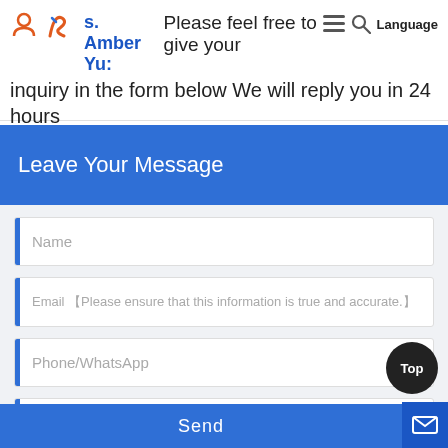s. Amber Yu: Please feel free to give your inquiry in the form below We will reply you in 24 hours
Leave Your Message
Name
Email 【Please ensure that this information is true and accurate.】
Phone/WhatsApp
Tell us the specific information details of the product you need and we will provide you with a quote ASAP.
Send